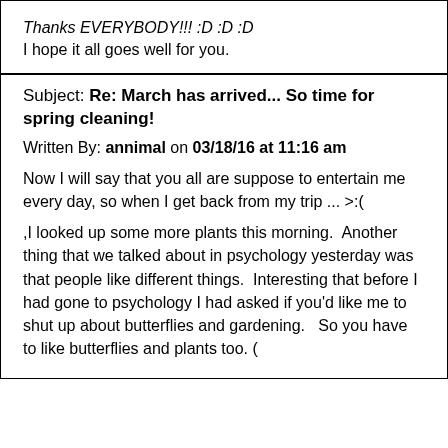Thanks EVERYBODY!!!  :D  :D  :D
I hope it all goes well for you.
Subject: Re: March has arrived... So time for spring cleaning!
Written By: annimal on 03/18/16 at 11:16 am
Now I will say that you all are suppose to entertain me every day, so when I get back from my trip ... >:(
,I looked up some more plants this morning.  Another thing that we talked about in psychology yesterday was that people like different things.  Interesting that before I had gone to psychology I had asked if you'd like me to shut up about butterflies and gardening.   So you have to like butterflies and plants too. (